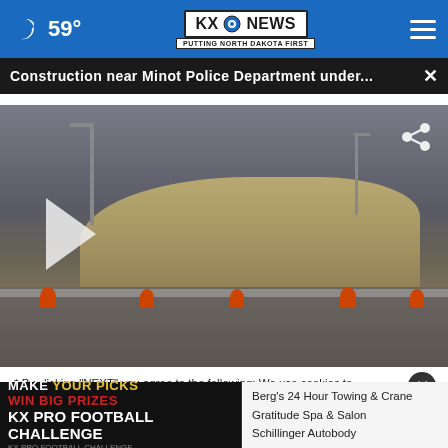59° KX NEWS PUTTING NORTH DAKOTA FIRST
Construction near Minot Police Department under...
[Figure (photo): Construction site photo showing a dirt embankment with orange construction barriers, chain-link fencing, street lights, and overcast sky. A play button overlay is visible on the left side, and a share icon is visible in the upper right.]
* By clicking "NEXT" you agree to the following: We use cookies to track your survey answers. If you would like to continue with this survey please read and agree to the CivicScience Privacy Policy and Terms of Service.
[Figure (infographic): Advertisement banner: MAKE YOUR PICKS WIN BIG PRIZES KX PRO FOOTBALL CHALLENGE]
Berg's 24 Hour Towing & Crane
Gratitude Spa & Salon
Schillinger Autobody